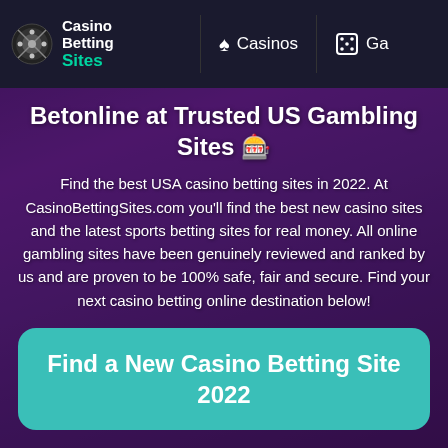Casino Betting Sites | Casinos | Ga
Betonline at Trusted US Gambling Sites 🎰
Find the best USA casino betting sites in 2022. At CasinoBettingSites.com you'll find the best new casino sites and the latest sports betting sites for real money. All online gambling sites have been genuinely reviewed and ranked by us and are proven to be 100% safe, fair and secure. Find your next casino betting online destination below!
Find a New Casino Betting Site 2022